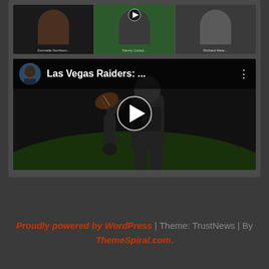[Figure (screenshot): Screenshot of a webpage showing two embedded video thumbnails. The top thumbnail shows three people in a video call panel layout. The bottom thumbnail shows a Las Vegas Raiders video with a football player holding a ball, with title 'Las Vegas Raiders: ...' and a play button.]
Proudly powered by WordPress | Theme: TrustNews | By ThemeSpiral.com.